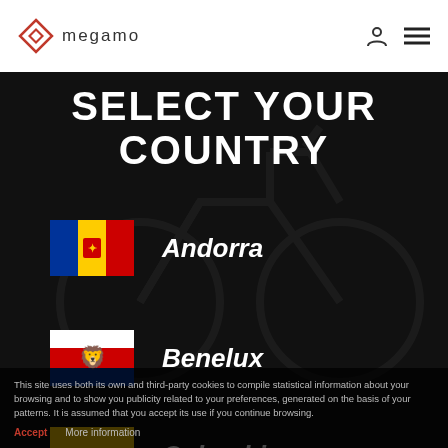megamo
SELECT YOUR COUNTRY
Andorra
Benelux
Colombia
This site uses both its own and third-party cookies to compile statistical information about your browsing and to show you publicity related to your preferences, generated on the basis of your patterns. It is assumed that you accept its use if you continue browsing.
Accept   More information